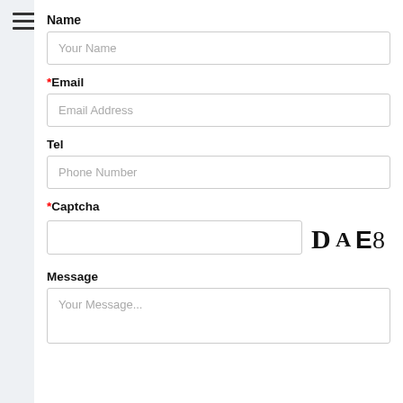[Figure (other): Hamburger menu icon (three horizontal lines)]
Name
Your Name
*Email
Email Address
Tel
Phone Number
*Captcha
[Figure (other): CAPTCHA image showing text: DAE 8]
Message
Your Message...